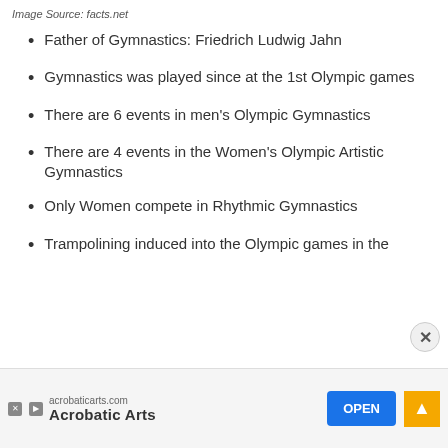Image Source: facts.net
Father of Gymnastics: Friedrich Ludwig Jahn
Gymnastics was played since at the 1st Olympic games
There are 6 events in men's Olympic Gymnastics
There are 4 events in the Women's Olympic Artistic Gymnastics
Only Women compete in Rhythmic Gymnastics
Trampolining induced into the Olympic games in the
[Figure (other): Advertisement banner for Acrobatic Arts (acrobaticarts.com) with an OPEN button and scroll-to-top arrow]